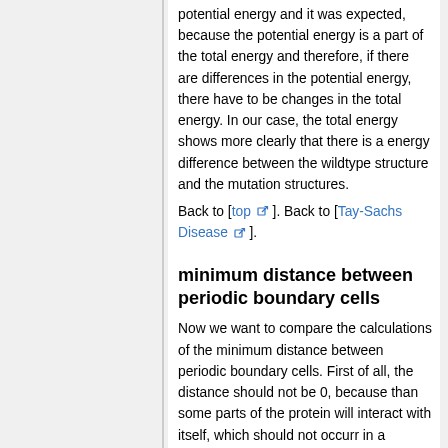potential energy and it was expected, because the potential energy is a part of the total energy and therefore, if there are differences in the potential energy, there have to be changes in the total energy. In our case, the total energy shows more clearly that there is a energy difference between the wildtype structure and the mutation structures.
Back to [top]. Back to [Tay-Sachs Disease].
minimum distance between periodic boundary cells
Now we want to compare the calculations of the minimum distance between periodic boundary cells. First of all, the distance should not be 0, because than some parts of the protein will interact with itself, which should not occurr in a protein. So therefore, these minimum distance values should not be too low. Second, also small differences between the values of the different system could have